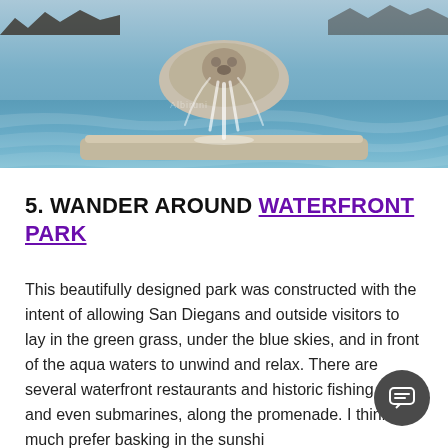[Figure (photo): Photo of a decorative fountain with water features and rippling water, with people visible at the edges in the background.]
5. WANDER AROUND WATERFRONT PARK
This beautifully designed park was constructed with the intent of allowing San Diegans and outside visitors to lay in the green grass, under the blue skies, and in front of the aqua waters to unwind and relax. There are several waterfront restaurants and historic fishing boats, and even submarines, along the promenade. I think you much prefer basking in the sunshine, kicking back with your personally